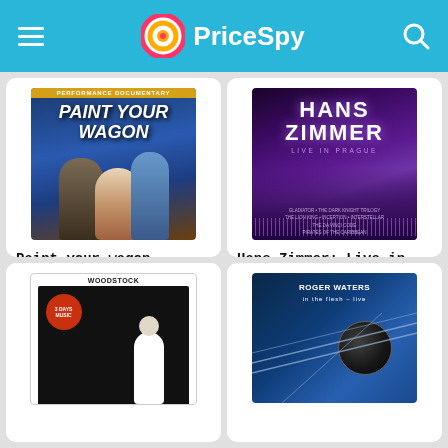PriceSpy
[Figure (illustration): DVD cover of Paint Your Wagon showing three characters against a blue background]
Paint your wagon
Music, Musical, Dolby Digi...
£5.39
[Figure (illustration): DVD cover of Hans Zimmer: Live in Prague showing concert stage with purple lighting]
Hans Zimmer: Live in Prague
Music, Dolby Digital 5.1, 0,...
£13.63
[Figure (illustration): DVD cover of Woodstock showing black and white concert imagery]
[Figure (illustration): DVD cover of Roger Waters: In the Flesh - Live showing blue cover with moon/eclipse imagery]